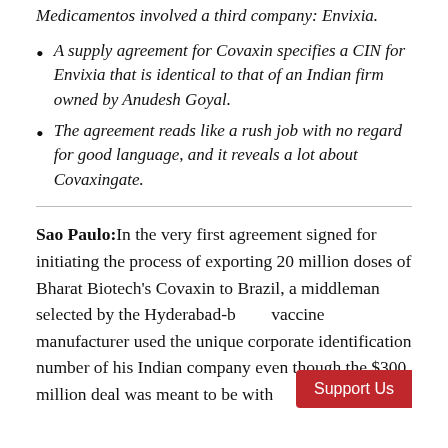Medicamentos involved a third company: Envixia.
A supply agreement for Covaxin specifies a CIN for Envixia that is identical to that of an Indian firm owned by Anudesh Goyal.
The agreement reads like a rush job with no regard for good language, and it reveals a lot about Covaxingate.
Sao Paulo: In the very first agreement signed for initiating the process of exporting 20 million doses of Bharat Biotech's Covaxin to Brazil, a middleman selected by the Hyderabad-b[ased] vaccine manufacturer used the unique corporate identification number of his Indian company even though the $300 million deal was meant to be with